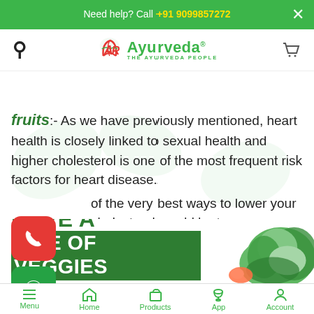Need help? Call +91 9099857272
[Figure (logo): AR Ayurveda logo with text 'THE AYURVEDA PEOPLE']
fruits:- As we have previously mentioned, heart health is closely linked to sexual health and higher cholesterol is one of the most frequent risk factors for heart disease.
of the very best ways to lower your cholesterol would be to consume more high-fiber foods like fresh vegetables and fruits.
[Figure (infographic): HAVE A BITE OF VEGGIES promotional banner with green leafy vegetables image]
Menu  Home  Products  App  Account